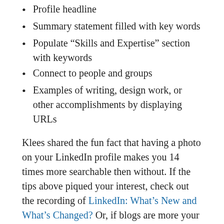Profile headline
Summary statement filled with key words
Populate “Skills and Expertise” section with keywords
Connect to people and groups
Examples of writing, design work, or other accomplishments by displaying URLs
Klees shared the fun fact that having a photo on your LinkedIn profile makes you 14 times more searchable then without. If the tips above piqued your interest, check out the recording of LinkedIn: What’s New and What’s Changed? Or, if blogs are more your style, the fantastic writer of our Career Blog, Greta Synder, recently posted: LinkedIn: These Tips Will Keep Your Profile Working for You 24/7!
Klees recommends to mine LinkedIn for descriptions of jobs you’re interested in to locate keywords to include in your profile. According to her, recruiters and human resources representatives think of valid LinkedIn profiles...